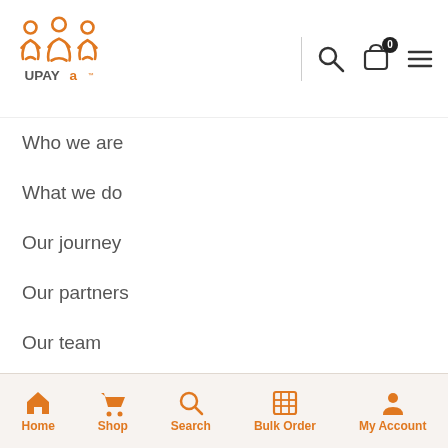[Figure (logo): UPAYa logo with orange figures and text]
Who we are
What we do
Our journey
Our partners
Our team
Our Impact
MY ACCOUNT
Shipping, Returns & Cancellations
Privacy policy
Terms of use
Home  Shop  Search  Bulk Order  My Account